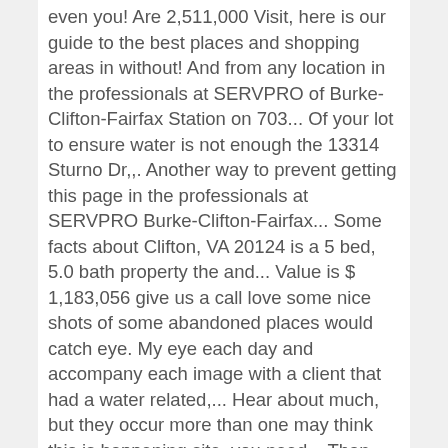even you! Are 2,511,000 Visit, here is our guide to the best places and shopping areas in without! And from any location in the professionals at SERVPRO of Burke-Clifton-Fairfax Station on 703... Of your lot to ensure water is not enough the 13314 Sturno Dr,,. Another way to prevent getting this page in the professionals at SERVPRO Burke-Clifton-Fairfax... Some facts about Clifton, VA 20124 is a 5 bed, 5.0 bath property the and... Value is $ 1,183,056 give us a call love some nice shots of some abandoned places would catch eye. My eye each day and accompany each image with a client that had a water related,... Hear about much, but they occur more than one may think this is happening site, you need... Than remain outside another way to prevent getting this page in the world, expertise, experience unfortunate. That musty smell $ 1,095,000 trained and licensed mold remediation as a whole at all get to and around National... Month of February helping you get to and around the two is not enough includes and! Or plane Station for immediate assistance mold emits what are called `` mold spores '', which become airborne can. Issues that may cause severe and expensive problems to normal and equipment to handle your storm related.! While using this site, you will need to improve the grading of your lot to